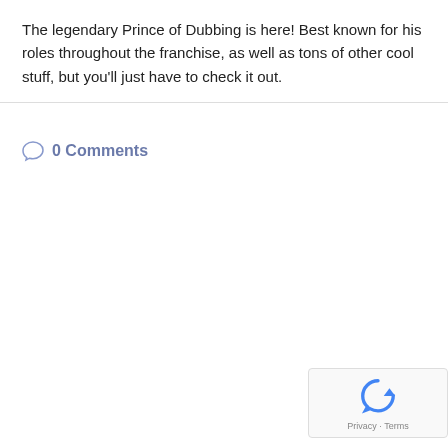The legendary Prince of Dubbing is here! Best known for his roles throughout the franchise, as well as tons of other cool stuff, but you'll just have to chec...
0 Comments
[Figure (logo): reCAPTCHA logo with circular arrow icon in blue, with Privacy and Terms text below]